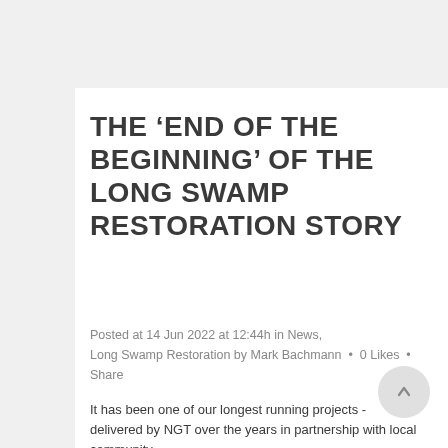THE ‘END OF THE BEGINNING’ OF THE LONG SWAMP RESTORATION STORY
Posted at 14 Jun 2022 at 12:44h in News, Long Swamp Restoration by Mark Bachmann • 0 Likes • Share
It has been one of our longest running projects - delivered by NGT over the years in partnership with local community